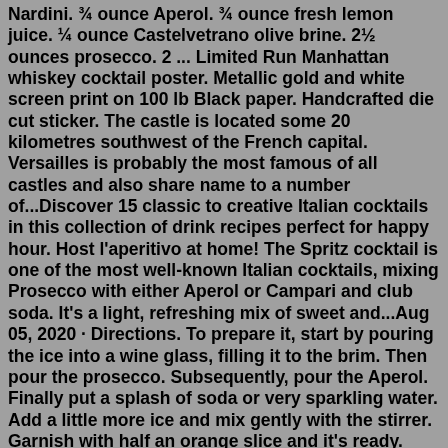Nardini. ¾ ounce Aperol. ¾ ounce fresh lemon juice. ¼ ounce Castelvetrano olive brine. 2½ ounces prosecco. 2 ... Limited Run Manhattan whiskey cocktail poster. Metallic gold and white screen print on 100 lb Black paper. Handcrafted die cut sticker. The castle is located some 20 kilometres southwest of the French capital. Versailles is probably the most famous of all castles and also share name to a number of...Discover 15 classic to creative Italian cocktails in this collection of drink recipes perfect for happy hour. Host l'aperitivo at home! The Spritz cocktail is one of the most well-known Italian cocktails, mixing Prosecco with either Aperol or Campari and club soda. It's a light, refreshing mix of sweet and...Aug 05, 2020 · Directions. To prepare it, start by pouring the ice into a wine glass, filling it to the brim. Then pour the prosecco. Subsequently, pour the Aperol. Finally put a splash of soda or very sparkling water. Add a little more ice and mix gently with the stirrer. Garnish with half an orange slice and it's ready.
probarlybooks on fdrthe book of trustbook group